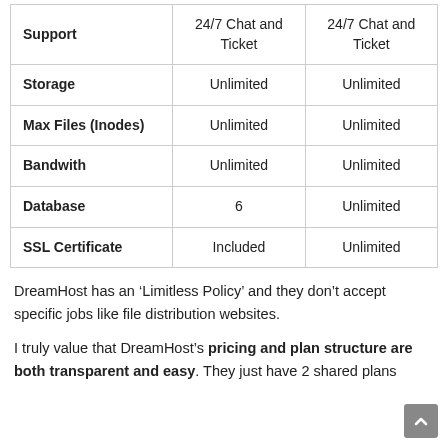|  |  |  |
| --- | --- | --- |
| Support | 24/7 Chat and Ticket | 24/7 Chat and Ticket |
| Storage | Unlimited | Unlimited |
| Max Files (Inodes) | Unlimited | Unlimited |
| Bandwith | Unlimited | Unlimited |
| Database | 6 | Unlimited |
| SSL Certificate | Included | Unlimited |
DreamHost has an ‘Limitless Policy’ and they don’t accept specific jobs like file distribution websites.
I truly value that DreamHost’s pricing and plan structure are both transparent and easy. They just have 2 shared plans